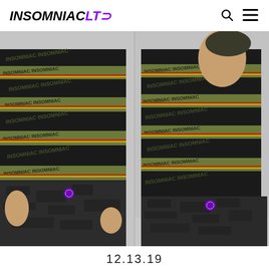INSOMNIAC LTD
[Figure (photo): Product photo showing a model wearing a black and olive green striped long-sleeve shirt with 'INSOMNIAC' text printed repeatedly across the stripes, with red and yellow accent lines. The shirt is shown from two angles side by side. The model also wears dark camouflage cargo pants with a purple logo patch. Background is light gray.]
12.13.19